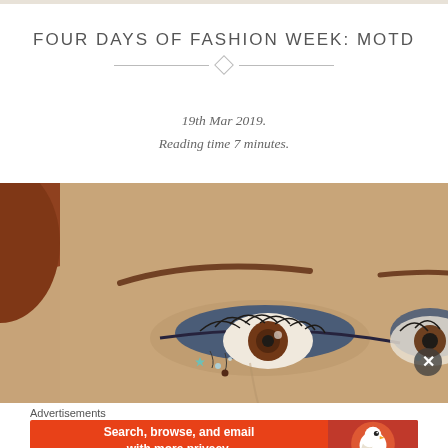FOUR DAYS OF FASHION WEEK: MOTD
19th Mar 2019.
Reading time 7 minutes.
[Figure (photo): Close-up photograph of a woman's eye with blue metallic eyeshadow, long dark lashes, well-defined eyebrow, and small gem/star decorations on the cheek. Red/auburn hair visible.]
Advertisements
[Figure (other): DuckDuckGo advertisement banner: orange/red background with text 'Search, browse, and email with more privacy. All in One Free App' and DuckDuckGo logo on the right side.]